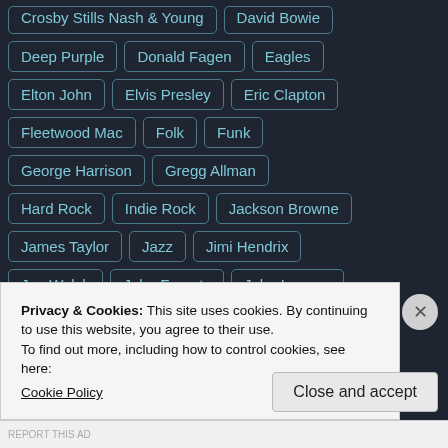Crosby Stills Nash & Young
David Bowie
Deep Purple
Donald Fagen
Eagles
Elton John
Elvis Presley
Eric Clapton
Fleetwood Mac
Folk
Funk
George Harrison
Gregg Allman
Hard Rock
Indie Rock
Jackson Browne
James Taylor
Jazz
Jimi Hendrix
Joe Walsh
John Fogerty
John Lennon
Privacy & Cookies: This site uses cookies. By continuing to use this website, you agree to their use.
To find out more, including how to control cookies, see here: Cookie Policy
Close and accept